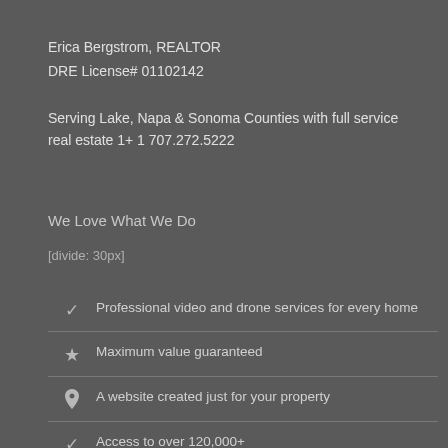Erica Bergstrom, REALTOR
DRE License# 01102142
Serving Lake, Napa & Sonoma Counties with full service real estate 1+ 1 707.272.5222
We Love What We Do
[divide: 30px]
Professional video and drone services for every home
Maximum value guaranteed
A website created just for your property
Access to over 120,000+ agents in 102 different countnries